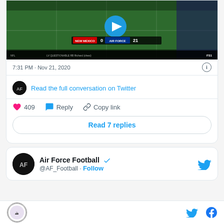[Figure (screenshot): Football game video thumbnail showing Air Force vs New Mexico game score: 0-21, 4th quarter on FS1, with a blue play button overlay]
7:31 PM · Nov 21, 2020
Read the full conversation on Twitter
409  Reply  Copy link
Read 7 replies
Air Force Football @AF_Football · Follow